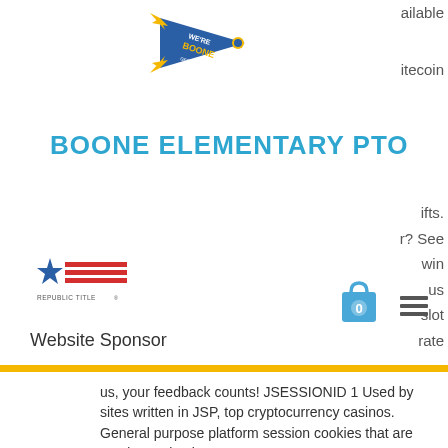[Figure (logo): Boone Elementary PTO pennant logo with 'WE'RE BOONE' text on a blue and yellow pennant flag]
BOONE ELEMENTARY PTO
ailable
itecoin
ifts.
r? See
win
us
slot
rate
[Figure (logo): Republic Title logo with star and stripes design]
Website Sponsor
us, your feedback counts! JSESSIONID 1 Used by sites written in JSP, top cryptocurrency casinos. General purpose platform session cookies that are used to maintain users' state across page requests.
Newport casino theater venue calendar slots, cahce creek casino free